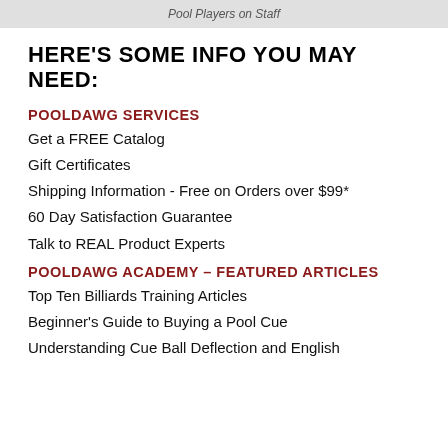Pool Players on Staff
HERE'S SOME INFO YOU MAY NEED:
POOLDAWG SERVICES
Get a FREE Catalog
Gift Certificates
Shipping Information - Free on Orders over $99*
60 Day Satisfaction Guarantee
Talk to REAL Product Experts
POOLDAWG ACADEMY – FEATURED ARTICLES
Top Ten Billiards Training Articles
Beginner's Guide to Buying a Pool Cue
Understanding Cue Ball Deflection and English